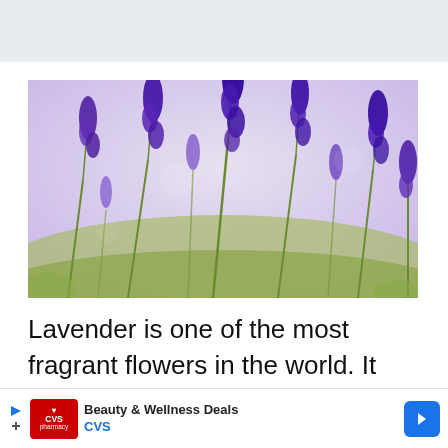[Figure (photo): A field of purple lavender flowers with tall green stems photographed close-up, with a blurred background of more lavender.]
Lavender is one of the most fragrant flowers in the world. It has an immense
[Figure (other): CVS Pharmacy advertisement banner: Beauty & Wellness Deals, CVS logo in red, blue arrow navigation button on right.]